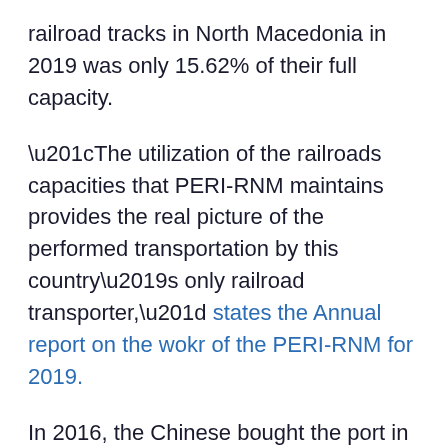railroad tracks in North Macedonia in 2019 was only 15.62% of their full capacity.
“The utilization of the railroads capacities that PERI-RNM maintains provides the real picture of the performed transportation by this country’s only railroad transporter,” states the Annual report on the wokr of the PERI-RNM for 2019.
In 2016, the Chinese bought the port in Piraeus, announcing that they intend to turn it into the biggest container ship port in Europe. Yet, five years later, the data provided by the State Statistical Office of North